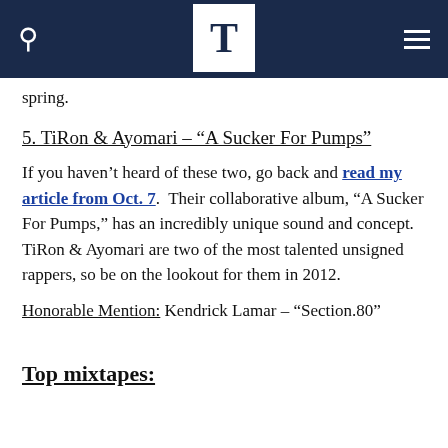T
spring.
5. TiRon & Ayomari – “A Sucker For Pumps”
If you haven’t heard of these two, go back and read my article from Oct. 7. Their collaborative album, “A Sucker For Pumps,” has an incredibly unique sound and concept. TiRon & Ayomari are two of the most talented unsigned rappers, so be on the lookout for them in 2012.
Honorable Mention: Kendrick Lamar – “Section.80”
Top mixtapes: